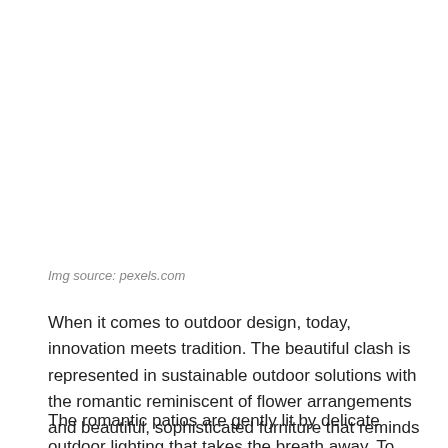Img source: pexels.com
When it comes to outdoor design, today, innovation meets tradition. The beautiful clash is represented in sustainable outdoor solutions with the romantic reminiscent of flower arrangements and beautiful, sophisticated furniture that reminds us of the past.
The romantic patios are gently lit by delicate outdoor lighting that takes the breath away. To create your backdoor